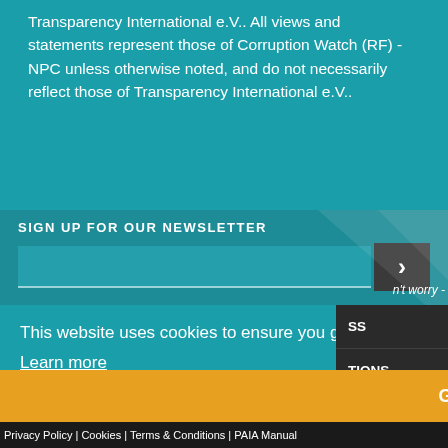Transparency International e.V.. All views and statements represent those of Corruption Watch (RF) -NPC unless otherwise noted, and do not necessarily reflect those of Transparency International e.V..
SIGN UP FOR OUR NEWSLETTER
[Figure (screenshot): Newsletter email input field with dark submit arrow button and teal decorative diagonal shapes on the right]
This website uses cookies to ensure you get the best experience on our website.
Learn more
Got it!
Privacy Policy | Cookies | Terms & Conditions | PAIA Manual